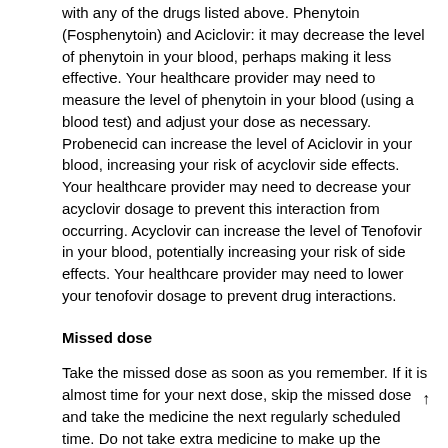with any of the drugs listed above. Phenytoin (Fosphenytoin) and Aciclovir: it may decrease the level of phenytoin in your blood, perhaps making it less effective. Your healthcare provider may need to measure the level of phenytoin in your blood (using a blood test) and adjust your dose as necessary. Probenecid can increase the level of Aciclovir in your blood, increasing your risk of acyclovir side effects. Your healthcare provider may need to decrease your acyclovir dosage to prevent this interaction from occurring. Acyclovir can increase the level of Tenofovir in your blood, potentially increasing your risk of side effects. Your healthcare provider may need to lower your tenofovir dosage to prevent drug interactions.
Missed dose
Take the missed dose as soon as you remember. If it is almost time for your next dose, skip the missed dose and take the medicine the next regularly scheduled time. Do not take extra medicine to make up the missed dose.
Overdose
Seek emergency medical attention if you think you have used too much of this medicine. Overdose symptoms may include seizure (convulsions) hallucinations, and urinating less than usual or not at all.
Storage